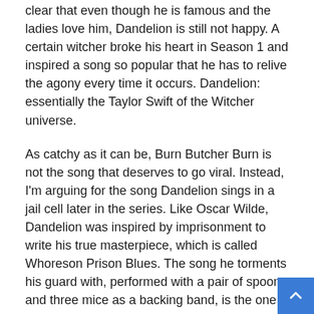clear that even though he is famous and the ladies love him, Dandelion is still not happy. A certain witcher broke his heart in Season 1 and inspired a song so popular that he has to relive the agony every time it occurs. Dandelion: essentially the Taylor Swift of the Witcher universe.
As catchy as it can be, Burn Butcher Burn is not the song that deserves to go viral. Instead, I'm arguing for the song Dandelion sings in a jail cell later in the series. Like Oscar Wilde, Dandelion was inspired by imprisonment to write his true masterpiece, which is called Whoreson Prison Blues. The song he torments his guard with, performed with a pair of spoons and three mice as a backing band, is the one I have in my head after marathoning all eight episodes.
You can hear a full studio version on the soundtrack, but I prefer the original as it appears in the series. The acoustic demo, unplugged, as it should be. It is, as it is certainly not said in the Northern Kingdoms, a banger.